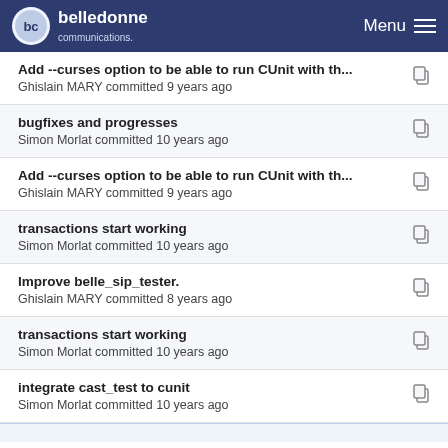belledonne communications — Menu
Add --curses option to be able to run CUnit with th... — Ghislain MARY committed 9 years ago
bugfixes and progresses — Simon Morlat committed 10 years ago
Add --curses option to be able to run CUnit with th... — Ghislain MARY committed 9 years ago
transactions start working — Simon Morlat committed 10 years ago
Improve belle_sip_tester. — Ghislain MARY committed 8 years ago
transactions start working — Simon Morlat committed 10 years ago
integrate cast_test to cunit — Simon Morlat committed 10 years ago